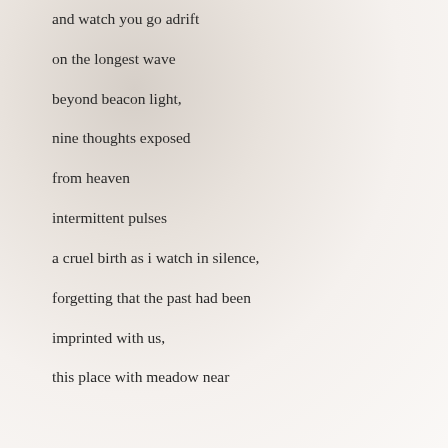and watch you go adrift
on the longest wave
beyond beacon light,
nine thoughts exposed
from heaven
intermittent pulses
a cruel birth as i watch in silence,
forgetting that the past had been
imprinted with us,
this place with meadow near